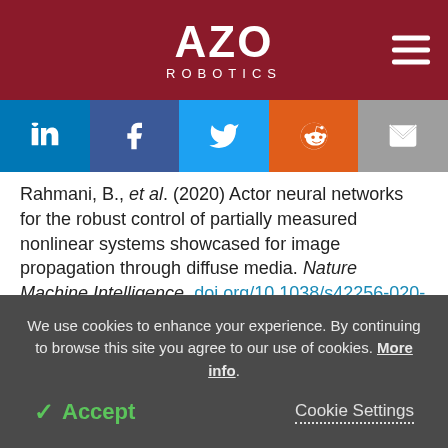AZO ROBOTICS
[Figure (other): Social sharing buttons: LinkedIn, Facebook, Twitter, Reddit, Email]
Rahmani, B., et al. (2020) Actor neural networks for the robust control of partially measured nonlinear systems showcased for image propagation through diffuse media. Nature Machine Intelligence. doi.org/10.1038/s42256-020-0199-9.
We use cookies to enhance your experience. By continuing to browse this site you agree to our use of cookies. More info.
✓ Accept   Cookie Settings